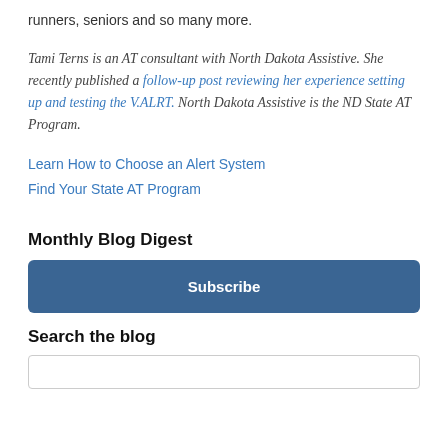runners, seniors and so many more.
Tami Terns is an AT consultant with North Dakota Assistive. She recently published a follow-up post reviewing her experience setting up and testing the V.ALRT. North Dakota Assistive is the ND State AT Program.
Learn How to Choose an Alert System
Find Your State AT Program
Monthly Blog Digest
Subscribe
Search the blog